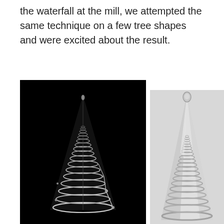the waterfall at the mill, we attempted the same technique on a few tree shapes and were excited about the result.
[Figure (photo): Two photographs of cone/tree shaped glass or wire sculptures. Left image: dark/black background showing a conical spiral wire structure resembling a Christmas tree. Right image: light/white background showing a similar conical glass sculpture with ridged/layered surface.]